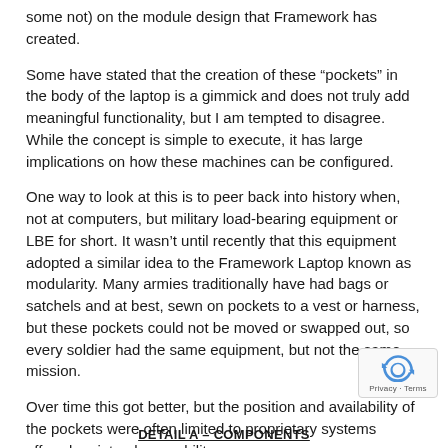some not) on the module design that Framework has created.
Some have stated that the creation of these “pockets” in the body of the laptop is a gimmick and does not truly add meaningful functionality, but I am tempted to disagree. While the concept is simple to execute, it has large implications on how these machines can be configured.
One way to look at this is to peer back into history when, not at computers, but military load-bearing equipment or LBE for short. It wasn’t until recently that this equipment adopted a similar idea to the Framework Laptop known as modularity. Many armies traditionally have had bags or satchels and at best, sewn on pockets to a vest or harness, but these pockets could not be moved or swapped out, so every soldier had the same equipment, but not the same mission.
Over time this got better, but the position and availability of the pockets were often limited to proprietary systems offered no interchangeability.
DETAIL A – COMPONENTS